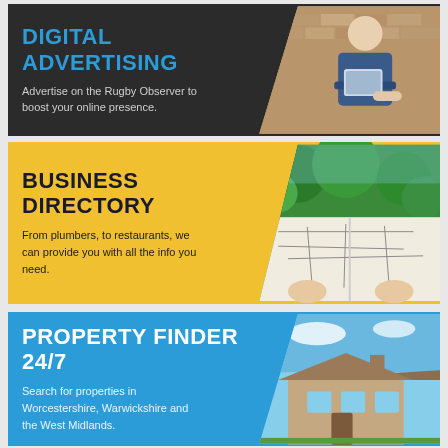[Figure (infographic): Digital Advertising banner with dark background, blue title text, grey description text, and photo of man with tablet on right]
DIGITAL ADVERTISING
Advertise on the Rugby Observer to boost your online presence.
[Figure (infographic): Business Directory banner with yellow background, dark title text, dark description text, and photo of person reading map on right]
BUSINESS DIRECTORY
From plumbers, to restaurants, we can provide you with all the info you need.
[Figure (infographic): Property Finder 24/7 banner with blue background, white title text, light description text, and photo of house on right]
PROPERTY FINDER 24/7
Search for properties in Worcestershire, Warwickshire and the West Midlands.